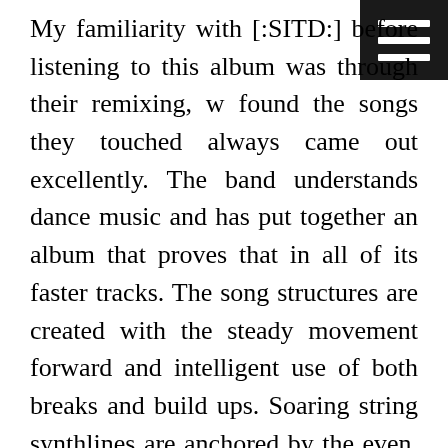My familiarity with [:SITD:] before listening to this album was through their remixing, w found the songs they touched always came out excellently. The band understands dance music and has put together an album that proves that in all of its faster tracks. The song structures are created with the steady movement forward and intelligent use of both breaks and build ups. Soaring string synthlines are anchored by the even, low vocals and a strong bed of intense rhythm. The compositions are focused on the music and there's little misplaced loyalty to the lyrical content. Vocals aren't always the focus but when they are added they make a positive